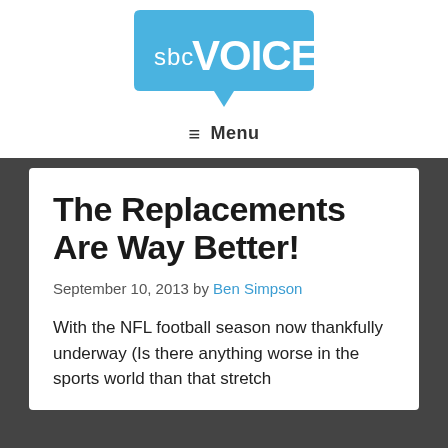[Figure (logo): SBC Voices logo — blue speech bubble with 'sbc' in small white text and 'VOICES' in large white bold text]
≡ Menu
The Replacements Are Way Better!
September 10, 2013 by Ben Simpson
With the NFL football season now thankfully underway (Is there anything worse in the sports world than that stretch